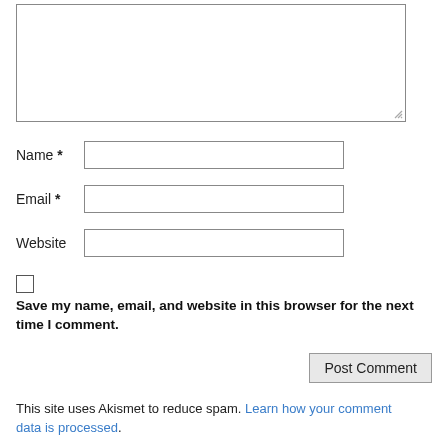[Figure (screenshot): A textarea input box with resize handle at bottom-right corner]
Name *
Email *
Website
Save my name, email, and website in this browser for the next time I comment.
Post Comment
This site uses Akismet to reduce spam. Learn how your comment data is processed.